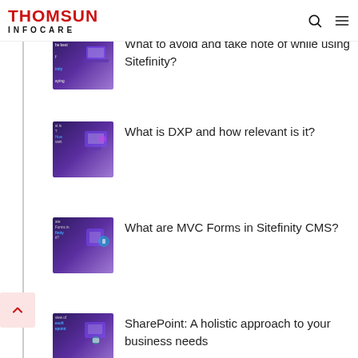THOMSUN INFOCARE
What to avoid and take note of while using Sitefinity?
What is DXP and how relevant is it?
What are MVC Forms in Sitefinity CMS?
SharePoint: A holistic approach to your business needs